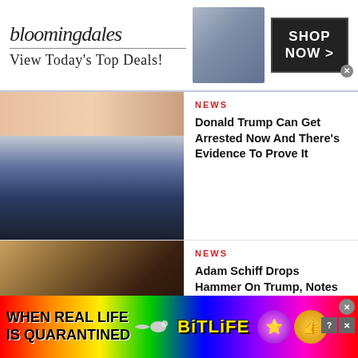[Figure (other): Bloomingdale's advertisement banner: logo, 'View Today's Top Deals!', fashion model image, 'SHOP NOW >' button]
[Figure (photo): Donald Trump close-up photo, looking upward, dark background]
NEWS
Donald Trump Can Get Arrested Now And There's Evidence To Prove It
[Figure (photo): Adam Schiff and Trump in what appears to be a congressional setting]
NEWS
Adam Schiff Drops Hammer On Trump, Notes 'Very Important Evidence' Could Take Him Down
[Figure (photo): Pastor or man in church/public setting, infolinks badge overlay]
NEWS
'You Nasty Perv!': Pastor Gets Called Out At His Own Church For Sexually Assaulting
[Figure (other): BitLife advertisement: rainbow background, 'WHEN REAL LIFE IS QUARANTINED', BitLife logo, emoji icons, close buttons]